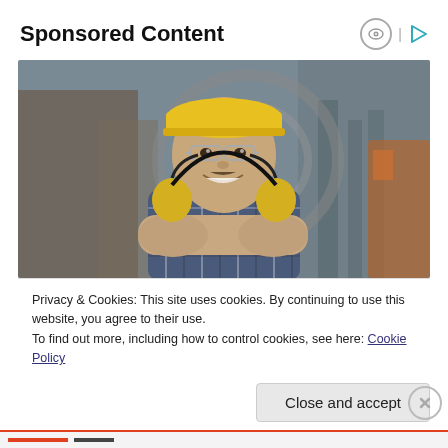Sponsored Content
[Figure (photo): A smiling construction worker wearing a yellow hard hat, safety glasses, plaid shirt, and ear protection around his neck, with arms crossed, standing in front of an industrial background.]
Privacy & Cookies: This site uses cookies. By continuing to use this website, you agree to their use.
To find out more, including how to control cookies, see here: Cookie Policy
Close and accept